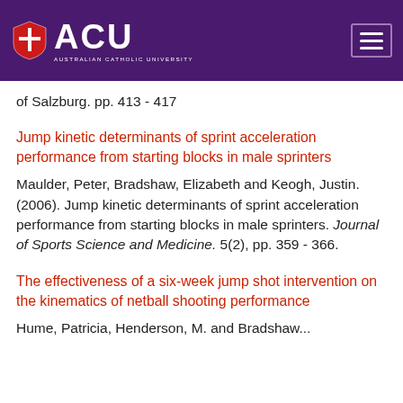ACU - Australian Catholic University
of Salzburg. pp. 413 - 417
Jump kinetic determinants of sprint acceleration performance from starting blocks in male sprinters
Maulder, Peter, Bradshaw, Elizabeth and Keogh, Justin. (2006). Jump kinetic determinants of sprint acceleration performance from starting blocks in male sprinters. Journal of Sports Science and Medicine. 5(2), pp. 359 - 366.
The effectiveness of a six-week jump shot intervention on the kinematics of netball shooting performance
Hume, Patricia, Henderson, M. and Bradshaw...